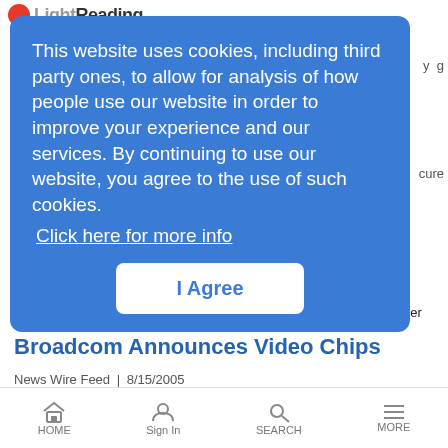Light Reading
This website uses cookies, including third party ones, to allow for analysis of how people use our website in order to improve your experience and our services. By continuing to use our website, you agree to the use of such cookies.
Click here for more info
I Agree
Sonet/SDH platforms, according to Light Reading's Comm Chip Insider
Broadcom Announces Video Chips
News Wire Feed | 8/15/2005
Broadcom introduces AVC/VC-1 high definition (HD) system-on-a-chip (SoC) solutions for set-top boxes and gateway/client architectures
HOME | Sign In | SEARCH | MORE